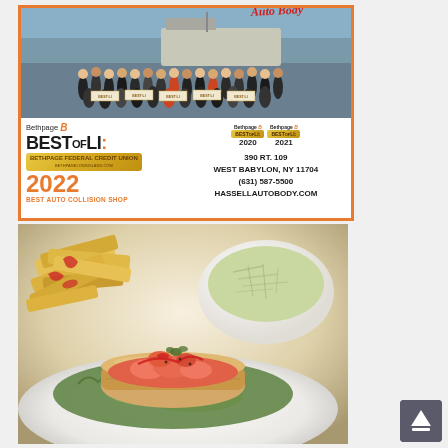[Figure (photo): Advertisement for Hassell Auto Body showing a group photo at a marina/dock, with Bethpage Best of LI 2022 Best Auto Collision Shop award. Contact info: 390 RT. 109, West Babylon, NY 11704, (631) 587-5500, hassellautobody.com. Orange border. Also shows Best of LI 2020 and 2021 badges.]
[Figure (photo): Food photograph showing a lobster roll on a bun with lettuce and garnish, french fries with red sauce on the left, and a bowl of coleslaw in the background. Shot on a white plate with bright professional food photography lighting.]